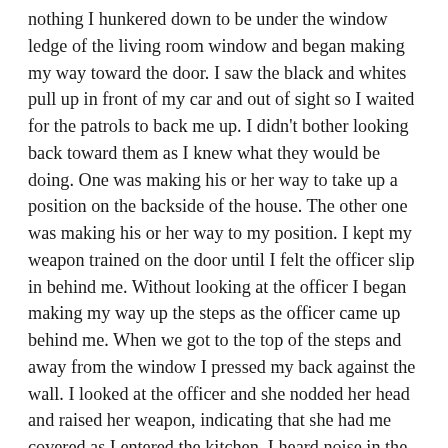nothing I hunkered down to be under the window ledge of the living room window and began making my way toward the door. I saw the black and whites pull up in front of my car and out of sight so I waited for the patrols to back me up. I didn't bother looking back toward them as I knew what they would be doing. One was making his or her way to take up a position on the backside of the house. The other one was making his or her way to my position. I kept my weapon trained on the door until I felt the officer slip in behind me. Without looking at the officer I began making my way up the steps as the officer came up behind me. When we got to the top of the steps and away from the window I pressed my back against the wall. I looked at the officer and she nodded her head and raised her weapon, indicating that she had me covered as I entered the kitchen. I heard noise in the back and we began to slowly edge our way back there. It made me very angry to have to tip toe through my own home but I didn't want the perpetrator to know anybody else was in the house. I certainly didn't want them to know the police were in the house. it was almost laughable though. Of all the places this clown or these clowns could have picked to burglarize, they had